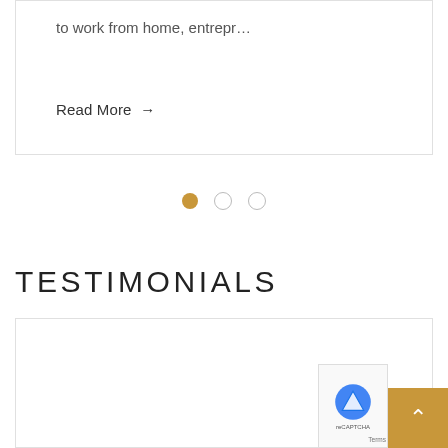to work from home, entrepr…
Read More →
[Figure (other): Carousel pagination dots: one filled golden dot and two empty circle dots]
TESTIMONIALS
YOUR GUIDANCE HAS BEEN VALUED AND